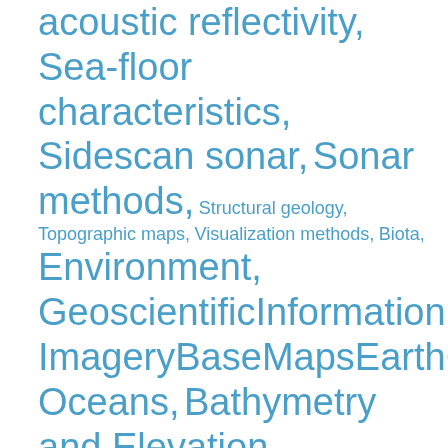acoustic reflectivity, Sea-floor characteristics, Sidescan sonar, Sonar methods, Structural geology, Topographic maps, Visualization methods, Biota, Environment, GeoscientificInformation, ImageryBaseMapsEarthCover, Oceans, Bathymetry and Elevation, Distributions, Habitat, Physical Habitats and Geomorphology, Substrate, Benthos, Fault, Geologic mapping, Habitats, Marine geology, Marine geophysics, Seabed, Sidescan